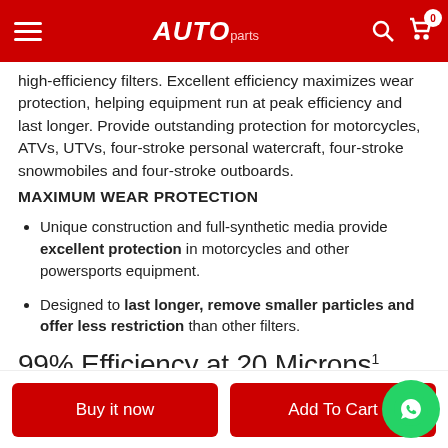AUTO (logo)
high-efficiency filters. Excellent efficiency maximizes wear protection, helping equipment run at peak efficiency and last longer. Provide outstanding protection for motorcycles, ATVs, UTVs, four-stroke personal watercraft, four-stroke snowmobiles and four-stroke outboards.
MAXIMUM WEAR PROTECTION
Unique construction and full-synthetic media provide excellent protection in motorcycles and other powersports equipment.
Designed to last longer, remove smaller particles and offer less restriction than other filters.
99% Efficiency at 20 Microns¹